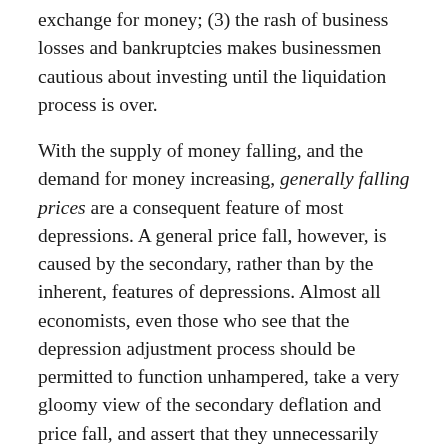exchange for money; (3) the rash of business losses and bankruptcies makes businessmen cautious about investing until the liquidation process is over.
With the supply of money falling, and the demand for money increasing, generally falling prices are a consequent feature of most depressions. A general price fall, however, is caused by the secondary, rather than by the inherent, features of depressions. Almost all economists, even those who see that the depression adjustment process should be permitted to function unhampered, take a very gloomy view of the secondary deflation and price fall, and assert that they unnecessarily aggravate the severity of depressions. This view, however, is incorrect. These processes not only do not aggravate the depression, they have positively beneficial effects.
There is, for example, no warrant whatever for the common hostility toward "hoarding." There is no criterion, first of all, to define "hoarding"; the charge inevitably boils down to mean that